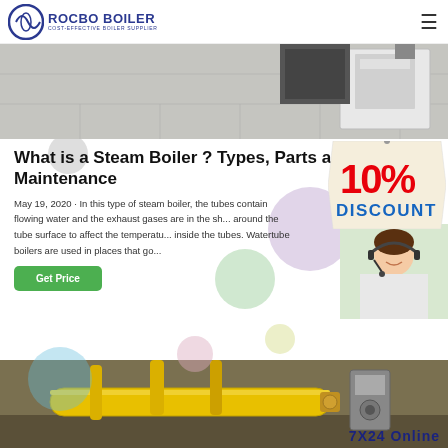ROCBO BOILER — COST-EFFECTIVE BOILER SUPPLIER
[Figure (photo): Industrial boiler equipment photo showing machinery on tiled floor]
What is a Steam Boiler ? Types, Parts and Maintenance
May 19, 2020 · In this type of steam boiler, the tubes contain flowing water and the exhaust gases are in the sh... around the tube surface to affect the temperatu... inside the tubes. Watertube boilers are used in places that go...
[Figure (illustration): 10% DISCOUNT badge/sticker in red and blue text on cream background]
[Figure (photo): Customer service woman with headset smiling]
[Figure (photo): Industrial boiler piping with yellow pipes]
Get Price
7X24 Online